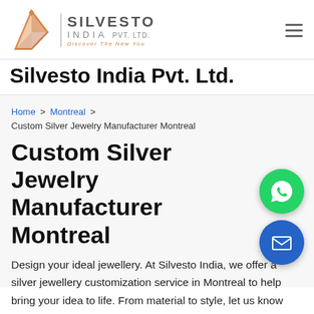[Figure (logo): Silvesto India Pvt. Ltd. logo with geometric diamond/arrow shape in orange and tagline 'Discover The New You']
Silvesto India Pvt. Ltd.
Home > Montreal > Custom Silver Jewelry Manufacturer Montreal
Custom Silver Jewelry Manufacturer Montreal
Design your ideal jewellery. At Silvesto India, we offer a silver jewellery customization service in Montreal to help bring your idea to life. From material to style, let us know your preferences and our team of designers and jewelers will do their magic. Renowned for